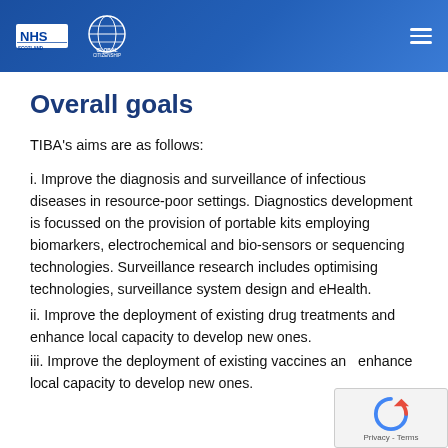NHS Scotland Global Citizenship
Overall goals
TIBA's aims are as follows:
i. Improve the diagnosis and surveillance of infectious diseases in resource-poor settings. Diagnostics development is focussed on the provision of portable kits employing biomarkers, electrochemical and bio-sensors or sequencing technologies. Surveillance research includes optimising technologies, surveillance system design and eHealth.
ii. Improve the deployment of existing drug treatments and enhance local capacity to develop new ones.
iii. Improve the deployment of existing vaccines and enhance local capacity to develop new ones.